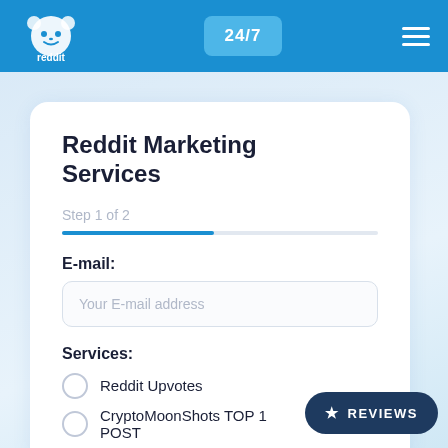reddit Growth Hacking | 24/7
Reddit Marketing Services
Step 1 of 2
E-mail:
Your E-mail address
Services:
Reddit Upvotes
CryptoMoonShots TOP 1 POST